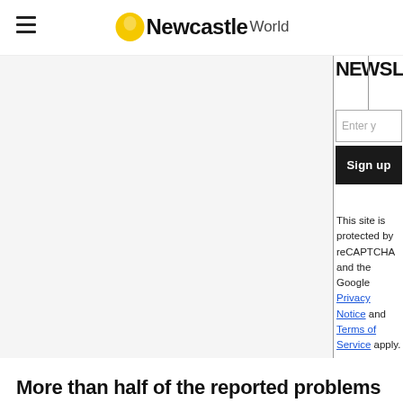Newcastle World
[Figure (screenshot): Main article image area (partially visible, gray background)]
Enter y
Sign up
This site is protected by reCAPTCHA and the Google Privacy Notice and Terms of Service apply.
More than half of the reported problems